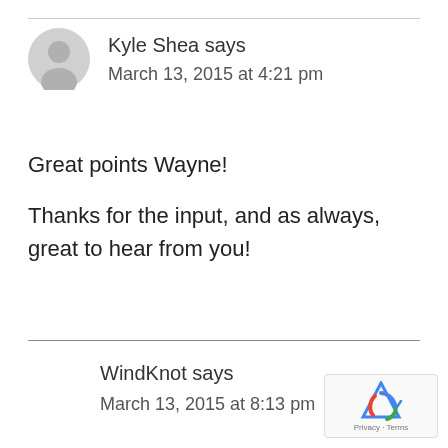Kyle Shea says
March 13, 2015 at 4:21 pm
Great points Wayne!
Thanks for the input, and as always, great to hear from you!
WindKnot says
March 13, 2015 at 8:13 pm